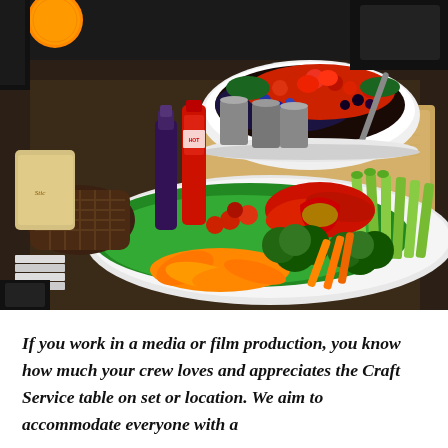[Figure (photo): A craft services table spread with a large white bowl filled with fresh berries (raspberries, strawberries, blueberries, blackberries), a platter of assorted raw vegetables (broccoli, celery sticks, red and orange bell peppers, cherry tomatoes, carrots) with dip in a red pepper bowl, condiment bottles, canned goods, a bread basket, and various other food items on a dark table.]
If you work in a media or film production, you know how much your crew loves and appreciates the Craft Service table on set or location. We aim to accommodate everyone with a